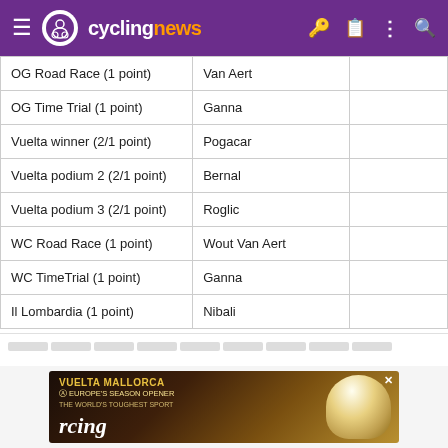cyclingnews
| Event | Pick |  |
| --- | --- | --- |
| OG Road Race (1 point) | Van Aert |  |
| OG Time Trial (1 point) | Ganna |  |
| Vuelta winner (2/1 point) | Pogacar |  |
| Vuelta podium 2 (2/1 point) | Bernal |  |
| Vuelta podium 3 (2/1 point) | Roglic |  |
| WC Road Race (1 point) | Wout Van Aert |  |
| WC TimeTrial (1 point) | Ganna |  |
| Il Lombardia (1 point) | Nibali |  |
[Figure (screenshot): Advertisement banner for Vuelta Mallorca cycling event]